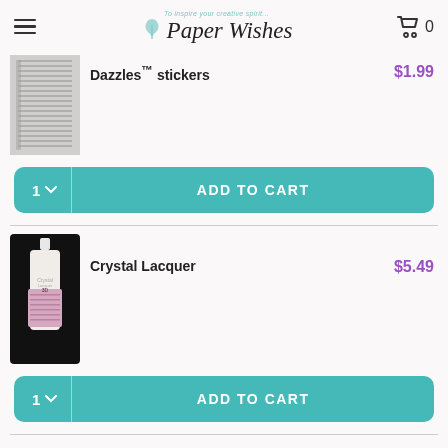Paper Wishes
[Figure (photo): Thumbnail image of Dazzles stickers product - gray/silver striped pattern]
Dazzles™ stickers
$1.99
1  ADD TO CART
[Figure (photo): Thumbnail image of Crystal Lacquer bottle - white squeeze bottle with pink label on black background]
Crystal Lacquer
$5.49
1  ADD TO CART